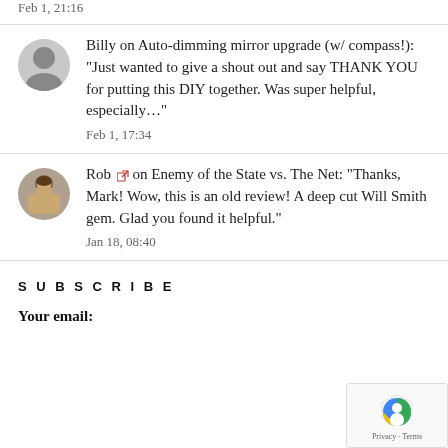Feb 1, 21:16
Billy on Auto-dimming mirror upgrade (w/ compass!): "Just wanted to give a shout out and say THANK YOU for putting this DIY together. Was super helpful, especially…"
Feb 1, 17:34
Rob on Enemy of the State vs. The Net: "Thanks, Mark! Wow, this is an old review! A deep cut Will Smith gem. Glad you found it helpful."
Jan 18, 08:40
SUBSCRIBE
Your email: